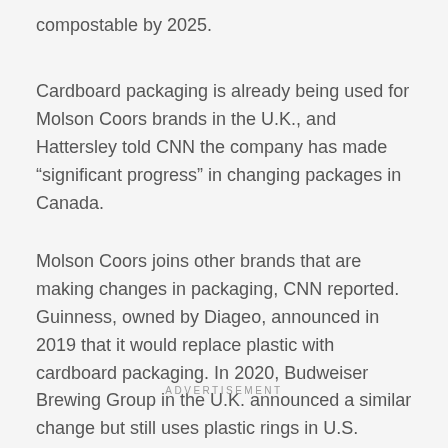compostable by 2025.
Cardboard packaging is already being used for Molson Coors brands in the U.K., and Hattersley told CNN the company has made “significant progress” in changing packages in Canada.
Molson Coors joins other brands that are making changes in packaging, CNN reported. Guinness, owned by Diageo, announced in 2019 that it would replace plastic with cardboard packaging. In 2020, Budweiser Brewing Group in the U.K. announced a similar change but still uses plastic rings in U.S. products.
ADVERTISEMENT